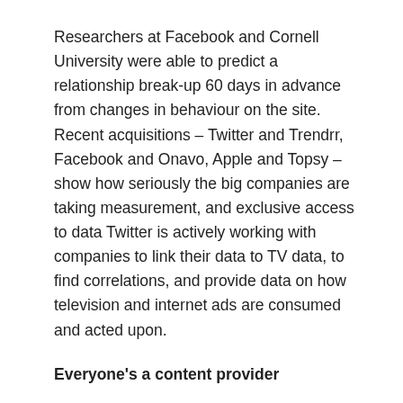Researchers at Facebook and Cornell University were able to predict a relationship break-up 60 days in advance from changes in behaviour on the site. Recent acquisitions – Twitter and Trendrr, Facebook and Onavo, Apple and Topsy – show how seriously the big companies are taking measurement, and exclusive access to data Twitter is actively working with companies to link their data to TV data, to find correlations, and provide data on how television and internet ads are consumed and acted upon.
Everyone's a content provider
From the man on the street using YouTube videos to promote his/her talent, to business's having to adapt to a changing economic environment (think of the effect the internet has had on print media and the entertainment industry, movies, music and television series especially), content and how it is disseminated has become more and more pivotal in today's internet age;